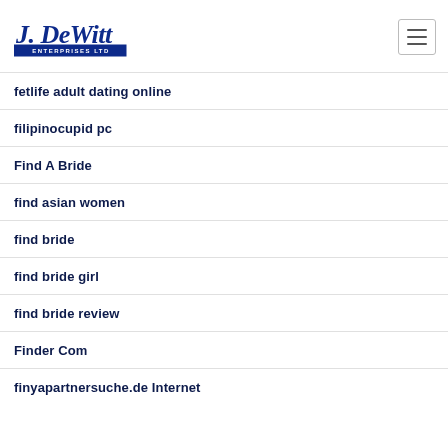J. DeWitt Enterprises Ltd
fetlife adult dating online
filipinocupid pc
Find A Bride
find asian women
find bride
find bride girl
find bride review
Finder Com
finyapartnersuche.de Internet